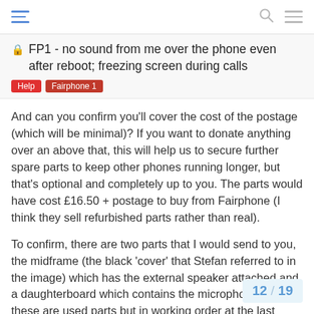FP1 - no sound from me over the phone even after reboot; freezing screen during calls
FP1 - no sound from me over the phone even after reboot; freezing screen during calls
Help | Fairphone 1
And can you confirm you'll cover the cost of the postage (which will be minimal)? If you want to donate anything over an above that, this will help us to secure further spare parts to keep other phones running longer, but that's optional and completely up to you. The parts would have cost £16.50 + postage to buy from Fairphone (I think they sell refurbished parts rather than real).
To confirm, there are two parts that I would send to you, the midframe (the black 'cover' that Stefan referred to in the image) which has the external speaker attached and a daughterboard which contains the microphone. All of these are used parts but in working order at the last testing point.
I would not recommend you attempt th
12 / 19